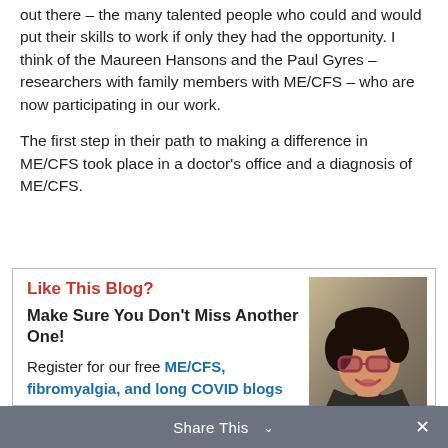out there – the many talented people who could and would put their skills to work if only they had the opportunity.  I think of the Maureen Hansons and the Paul Gyres – researchers with family members with ME/CFS – who are now participating in our work.
The first step in their path to making a difference in ME/CFS took place in a doctor's office and a diagnosis of ME/CFS.
Like This Blog?
Make Sure You Don't Miss Another One!
Register for our free ME/CFS, fibromyalgia, and long COVID blogs here.
[Figure (photo): Photo of a woman with curly dark hair wearing pink/red sunglasses, looking toward camera, wearing a dark jacket]
Share This ∨  ×